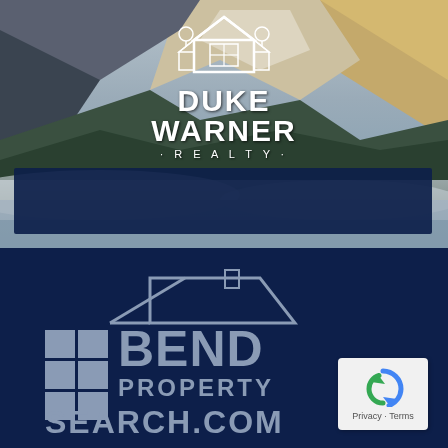[Figure (photo): Snowy mountain landscape at golden hour with valleys and pine trees, serving as the background for the top half of the page]
[Figure (logo): Duke Warner Realty logo — white house icon with trees above bold white text reading DUKE WARNER with -REALTY- below in spaced letters]
[Figure (logo): Bend Property Search dot com logo — gray house outline icon with grid squares, text reading BEND PROPERTY SEARCH.COM in gray/silver on dark navy background]
[Figure (other): Google reCAPTCHA widget box showing the reCAPTCHA logo and Privacy - Terms text]